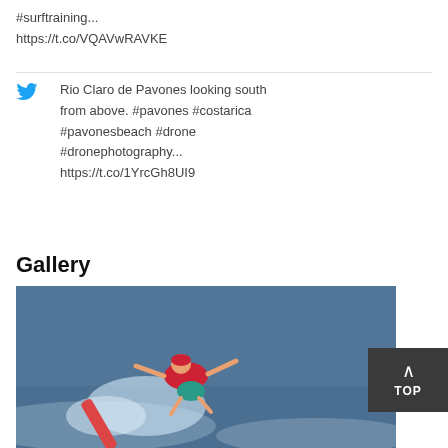#surftraining...
https://t.co/VQAVwRAVKE
Rio Claro de Pavones looking south from above. #pavones #costarica #pavonesbeach #drone #dronephotography...
https://t.co/1YrcGh8UI9
Gallery
[Figure (photo): Surfer performing aerial maneuver on wave, wearing red top and teal shorts, with surfboard visible and ocean spray in background.]